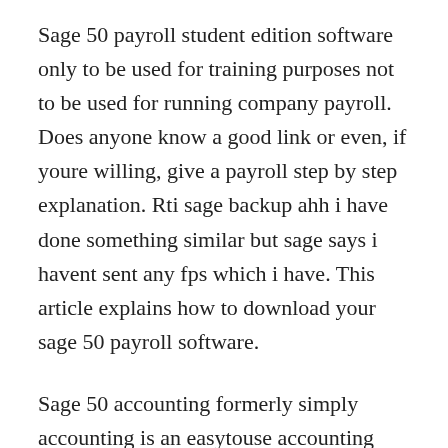Sage 50 payroll student edition software only to be used for training purposes not to be used for running company payroll. Does anyone know a good link or even, if youre willing, give a payroll step by step explanation. Rti sage backup ahh i have done something similar but sage says i havent sent any fps which i have. This article explains how to download your sage 50 payroll software.
Sage 50 accounting formerly simply accounting is an easytouse accounting and business management software that provides